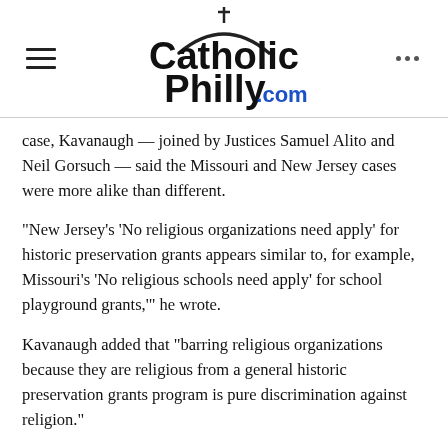CatholicPhilly.com
case, Kavanaugh — joined by Justices Samuel Alito and Neil Gorsuch — said the Missouri and New Jersey cases were more alike than different.
“New Jersey’s ‘No religious organizations need apply’ for historic preservation grants appears similar to, for example, Missouri’s ‘No religious schools need apply’ for school playground grants,’’’ he wrote.
Kavanaugh added that “barring religious organizations because they are religious from a general historic preservation grants program is pure discrimination against religion.”
The newest justice stressed that just because the court chose not to review this case, it didn’t mean the justices agreed or